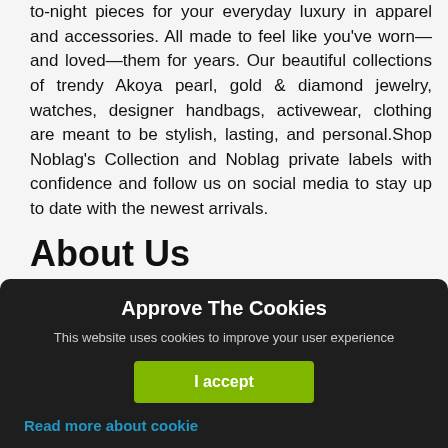to-night pieces for your everyday luxury in apparel and accessories. All made to feel like you've worn—and loved—them for years. Our beautiful collections of trendy Akoya pearl, gold & diamond jewelry, watches, designer handbags, activewear, clothing are meant to be stylish, lasting, and personal.Shop Noblag's Collection and Noblag private labels with confidence and follow us on social media to stay up to date with the newest arrivals.
About Us
Shipping Information
Returns & Exchanges Policy
[Figure (screenshot): Cookie consent banner with dark background. Title: 'Approve The Cookies'. Description: 'This website uses cookies to improve your user experience'. Green 'I accept' button. Blue 'Read more about cookie' link.]